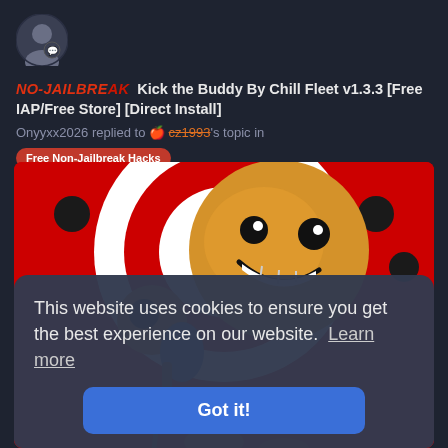[Figure (illustration): Dark circular avatar placeholder with a person silhouette icon in gray]
NO-JAILBREAK  Kick the Buddy By Chill Fleet v1.3.3 [Free IAP/Free Store] [Direct Install]
Onyyxx2026 replied to 🍎 cz1993's topic in
Free Non-Jailbreak Hacks
[Figure (illustration): Game screenshot showing a cartoon smiley face character on a red background with a bullseye target, holding what appears to be a mace. The Kick the Buddy game artwork.]
This website uses cookies to ensure you get the best experience on our website.  Learn more
Got it!